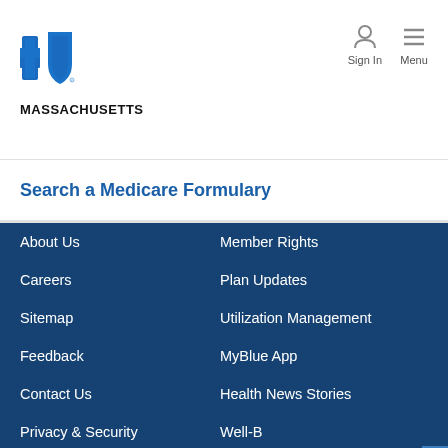[Figure (logo): Blue Cross Blue Shield Massachusetts logo with cross and shield icons in blue, and MASSACHUSETTS text below]
[Figure (other): Sign In icon (person silhouette) and Menu icon (hamburger lines) in the top right header]
Search a Medicare Formulary
About Us
Member Rights
Careers
Plan Updates
Sitemap
Utilization Management
Feedback
MyBlue App
Contact Us
Health News Stories
Privacy & Security
Well-B
Terms of Use
Medical Policies